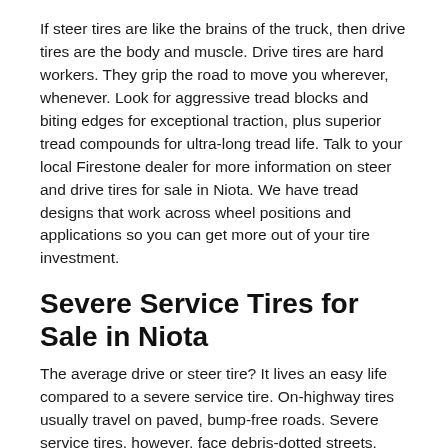If steer tires are like the brains of the truck, then drive tires are the body and muscle. Drive tires are hard workers. They grip the road to move you wherever, whenever. Look for aggressive tread blocks and biting edges for exceptional traction, plus superior tread compounds for ultra-long tread life. Talk to your local Firestone dealer for more information on steer and drive tires for sale in Niota. We have tread designs that work across wheel positions and applications so you can get more out of your tire investment.
Severe Service Tires for Sale in Niota
The average drive or steer tire? It lives an easy life compared to a severe service tire. On-highway tires usually travel on paved, bump-free roads. Severe service tires, however, face debris-dotted streets, rocky mountain passes, and tight urban alleys. Firestone Commercial has ready-to-go severe service tires in Niota that can stand up to these tough conditions. We know what high-performance vehicles need to keep working in the conditions they face every day. The Firestone severe service inventory includes wide base radials, all-position radials, and extreme service drive tires for both on- and off-highway applications.